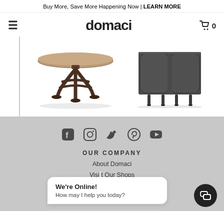Buy More, Save More Happening Now | LEARN MORE
[Figure (logo): Domaci logo with hamburger menu and cart icon]
[Figure (photo): Round dining table with ornate dark iron base]
[Figure (photo): Dark grey cabinet/sideboard with curved doors on thin legs]
[Figure (illustration): Social media icons: Facebook, Instagram, Twitter, Pinterest, YouTube]
OUR COMPANY
About Domaci
Visit Our Shops
Sustainability
Community: Domaci Gives Back
We're Online! How may I help you today?